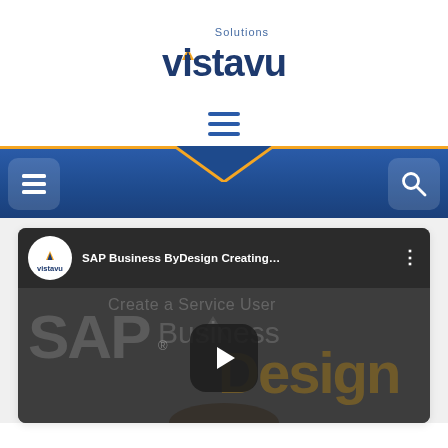[Figure (logo): VistaVu Solutions logo — dark blue bold text 'vistavu' with small 'Solutions' text above, and a small upward-pointing arrow/triangle icon above the V]
[Figure (screenshot): Hamburger menu icon (three horizontal lines) in blue, centered on white background]
[Figure (screenshot): Mobile navigation bar: dark blue gradient bar with gold/yellow top border, hamburger icon button on left, search icon button on right, white chevron/notch cutout at top center]
[Figure (screenshot): YouTube video embed card showing 'SAP Business ByDesign Creating...' with VistaVu logo, video thumbnail showing SAP Business ByDesign branding text and a play button]